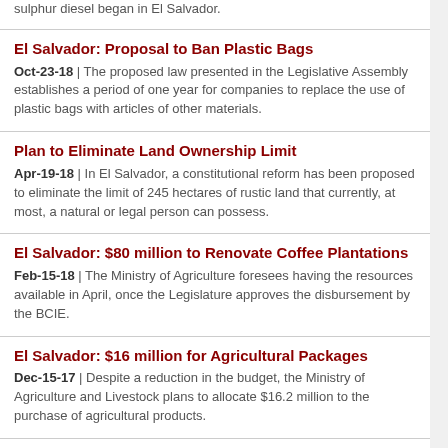sulphur diesel began in El Salvador.
El Salvador: Proposal to Ban Plastic Bags
Oct-23-18 | The proposed law presented in the Legislative Assembly establishes a period of one year for companies to replace the use of plastic bags with articles of other materials.
Plan to Eliminate Land Ownership Limit
Apr-19-18 | In El Salvador, a constitutional reform has been proposed to eliminate the limit of 245 hectares of rustic land that currently, at most, a natural or legal person can possess.
El Salvador: $80 million to Renovate Coffee Plantations
Feb-15-18 | The Ministry of Agriculture foresees having the resources available in April, once the Legislature approves the disbursement by the BCIE.
El Salvador: $16 million for Agricultural Packages
Dec-15-17 | Despite a reduction in the budget, the Ministry of Agriculture and Livestock plans to allocate $16.2 million to the purchase of agricultural products.
More Delays for Natural Gas Plant